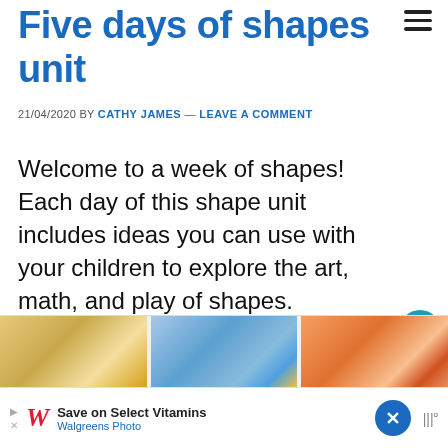Five days of shapes unit
21/04/2020 BY CATHY JAMES — LEAVE A COMMENT
Welcome to a week of shapes! Each day of this shape unit includes ideas you can use with your children to explore the art, math, and play of shapes.
[Figure (photo): Three thumbnail images showing craft/activity photos related to shapes]
[Figure (infographic): Advertisement bar: Save on Select Vitamins - Walgreens Photo]